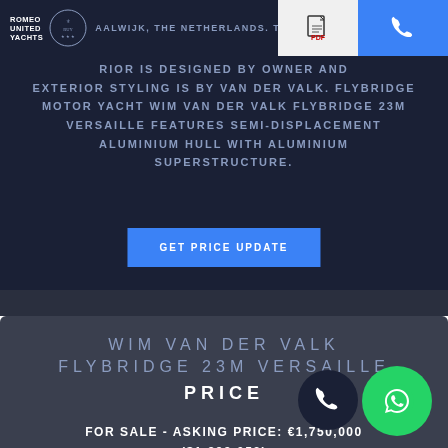ROMEO UNITED YACHTS | AALWIJK, THE NETHERLANDS. THE YACHT'S INTERIOR IS DESIGNED BY OWNER AND EXTERIOR STYLING IS BY VAN DER VALK.
FLYBRIDGE MOTOR YACHT WIM VAN DER VALK FLYBRIDGE 23M VERSAILLE FEATURES SEMI-DISPLACEMENT ALUMINIUM HULL WITH ALUMINIUM SUPERSTRUCTURE.
GET PRICE UPDATE
WIM VAN DER VALK FLYBRIDGE 23M VERSAILLE PRICE
FOR SALE - ASKING PRICE: €1,750,000 ($1,899,053)
YEAR: 2014